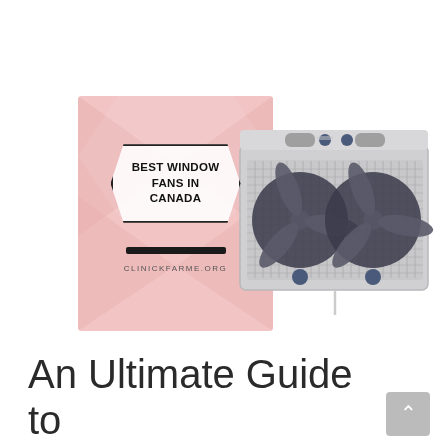[Figure (illustration): Composite image showing a pink book cover labeled 'BEST WINDOW FANS IN CANADA' with CLINICKFARME.ORG text, and a white twin-blade window fan unit placed to the right of the cover.]
An Ultimate Guide to Best Window Fans